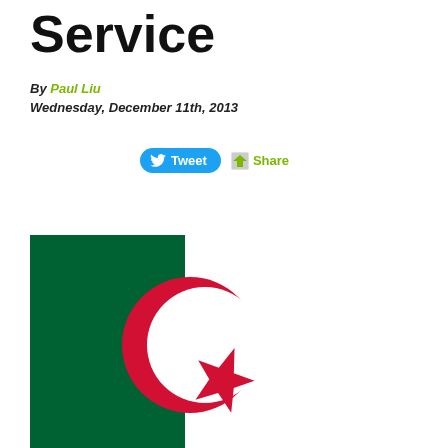Service
By Paul Liu
Wednesday, December 11th, 2013
[Figure (other): Tweet button and Share button social media bar]
[Figure (illustration): Algerian flag — green left half and white right half with red crescent moon and star in the center]